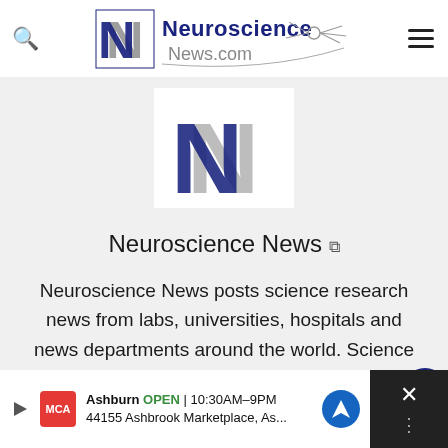[Figure (logo): Neuroscience News logo with NN monogram and neuron graphic]
[Figure (logo): Large NN monogram logo in blue and gray on white background]
Neuroscience News
Neuroscience News posts science research news from labs, universities, hospitals and news departments around the world. Science articles can cover
[Figure (infographic): Ad bar: Ashburn OPEN 10:30AM–9PM, 44155 Ashbrook Marketplace, As...]